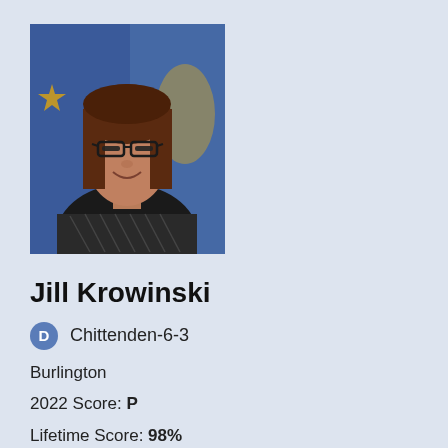[Figure (photo): Headshot of Jill Krowinski, a woman with shoulder-length brown hair and glasses, wearing a dark top, with a blue and gold flag in the background.]
Jill Krowinski
D  Chittenden-6-3
Burlington
2022 Score: P
Lifetime Score: 98%